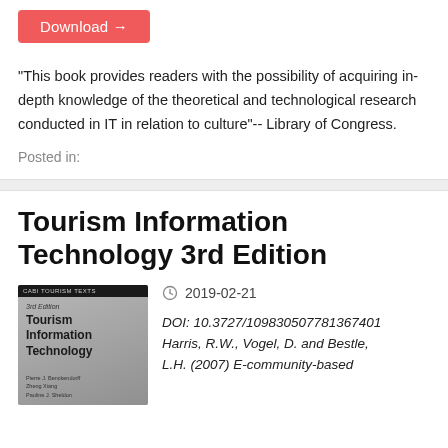Download →
"This book provides readers with the possibility of acquiring in-depth knowledge of the theoretical and technological research conducted in IT in relation to culture"-- Library of Congress.
Posted in:
Tourism Information Technology 3rd Edition
[Figure (illustration): Book cover of Tourism Information Technology 3rd Edition showing the title text on a grey illustrated background with authors listed at the bottom]
2019-02-21
DOI: 10.3727/109830507781367401 Harris, R.W., Vogel, D. and Bestle, L.H. (2007) E-community-based